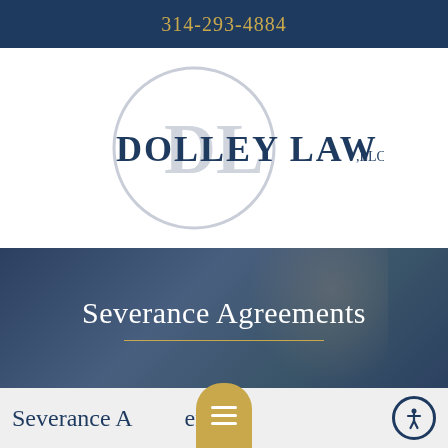314-293-4884
[Figure (logo): Dolley Law LLC logo with circular DL monogram and text 'DOLLEY LAW LLC']
[Figure (photo): Hero banner image with woman in glasses overlaid with dark blue tint showing 'Severance Agreements' text and gold divider line]
Severance Agreements